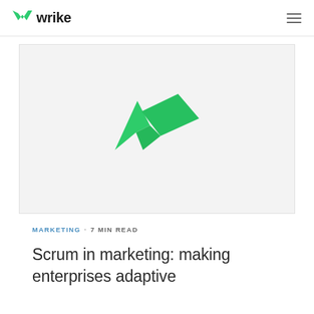wrike
[Figure (logo): Wrike logo (green checkmark/wings shape) displayed large on a light gray background hero image area]
MARKETING · 7 MIN READ
Scrum in marketing: making enterprises adaptive